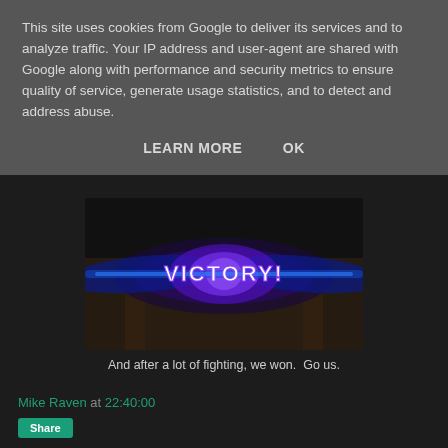This site uses cookies from Google to deliver its services and to analyze traffic. Your IP address and user-agent are shared with Google along with performance and security metrics to ensure quality of service, generate usage statistics, and to detect and address abuse.
LEARN MORE   OK
[Figure (screenshot): A screenshot of a game showing VICTORY! text with blue/purple glowing effects over a dark background]
And after a lot of fighting, we won.  Go us.
Mike Raven at 22:40:00